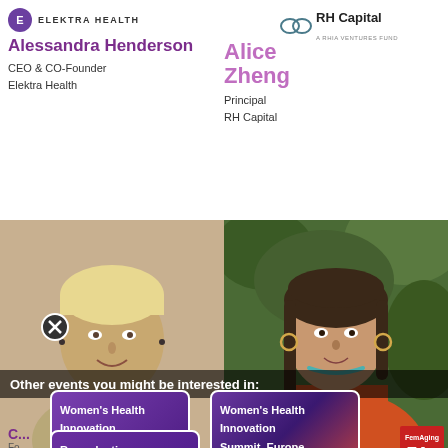[Figure (logo): Elektra Health logo with purple circle E and uppercase text ELEKTRA HEALTH]
Alessandra Henderson
CEO & CO-Founder
Elektra Health
[Figure (logo): RH Capital A RHIA Ventures Fund logo]
Alice Zheng
Principal
RH Capital
[Figure (photo): Photo of Alessandra Henderson, woman with short blonde hair, smiling]
[Figure (photo): Photo of Alice Zheng, woman in orange jacket against green foliage background]
Other events you might be interested in:
[Figure (screenshot): Women's Health Innovation Summit 2022 event card with purple gradient background]
[Figure (screenshot): Women's Health Innovation Summit, Europe event card with purple-red gradient]
[Figure (screenshot): Reproductive Health Innovation Summit event card with purple gradient]
Co...
Fo...
Women's Health
A...
nise Pines
nder
The FemAging Project
[Figure (logo): FemAging FA 2020 logo in red and white]